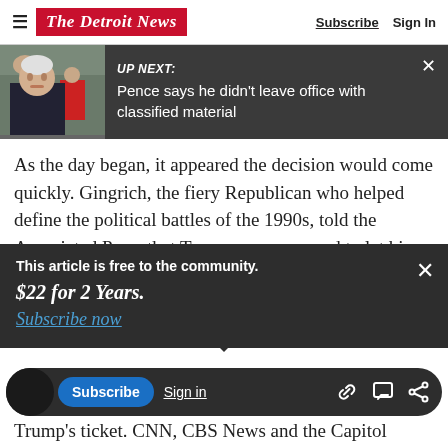The Detroit News — Subscribe | Sign In
[Figure (screenshot): UP NEXT banner with photo of Mike Pence and text: 'Pence says he didn't leave office with classified material']
As the day began, it appeared the decision would come quickly. Gingrich, the fiery Republican who helped define the political battles of the 1990s, told the Associated Press that Trump was supposed to let him know something in the
This article is free to the community.
$22 for 2 Years.
Subscribe now
Trump's ticket. CNN, CBS News and the Capitol